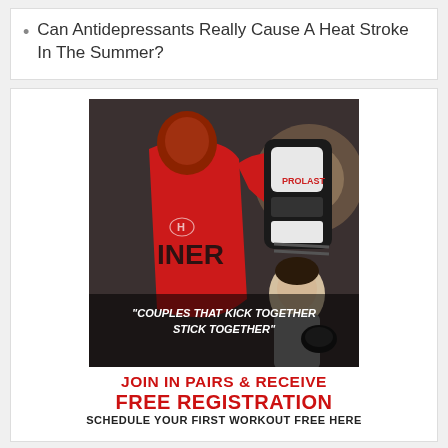Can Antidepressants Really Cause A Heat Stroke In The Summer?
[Figure (photo): Advertisement for a boxing/martial arts gym. Shows two people training — one in a red jersey punching a pad held by another person. Text overlay reads 'COUPLES THAT KICK TOGETHER STICK TOGETHER'. Below the photo: 'JOIN IN PAIRS & RECEIVE FREE REGISTRATION — SCHEDULE YOUR FIRST WORKOUT FREE HERE' in red and black bold text.]